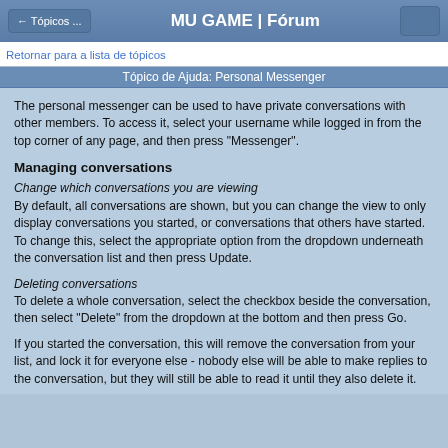← Tópicos ...   MU GAME | Fórum
Retornar para a lista de tópicos
Tópico de Ajuda: Personal Messenger
The personal messenger can be used to have private conversations with other members. To access it, select your username while logged in from the top corner of any page, and then press "Messenger".
Managing conversations
Change which conversations you are viewing
By default, all conversations are shown, but you can change the view to only display conversations you started, or conversations that others have started. To change this, select the appropriate option from the dropdown underneath the conversation list and then press Update.
Deleting conversations
To delete a whole conversation, select the checkbox beside the conversation, then select "Delete" from the dropdown at the bottom and then press Go.
If you started the conversation, this will remove the conversation from your list, and lock it for everyone else - nobody else will be able to make replies to the conversation, but they will still be able to read it until they also delete it.